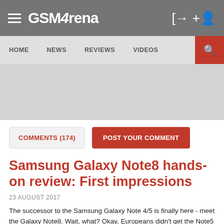GSMArena
HOME  NEWS  REVIEWS  VIDEOS
[Figure (other): Advertisement banner area (gray placeholder)]
COMMENTS (174)   POST YOUR COMMENT
Samsung Galaxy Note8 hands-on review: First impressions
23 AUGUST 2017
The successor to the Samsung Galaxy Note 4/5 is finally here - meet the Galaxy Note8. Wait, what? Okay, Europeans didn't get the Note5 because Samsung, and we all know how the Note7 lived a shorter product life than it deserved. So